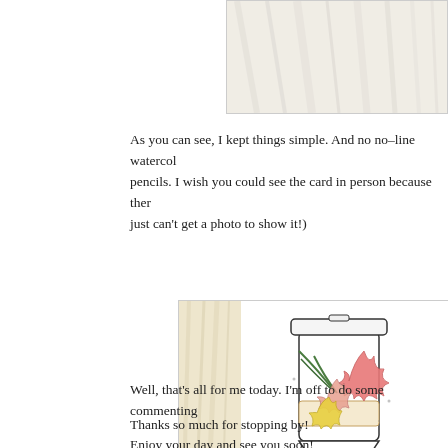[Figure (photo): Partial view of a photo with whitewashed wood background, top-right corner]
As you can see, I kept things simple. And no no-line watercol pencils. I wish you could see the card in person because ther just can't get a photo to show it!)
[Figure (illustration): Illustration of a coffee cup decorated with autumn/fall leaves including pink maple leaves, yellow leaves, and green pine branches, on a light background with wood-textured strip on the left]
Well, that's all for me today. I'm off to do some commenting
Thanks so much for stopping by!
Enjoy your day and see you soon!